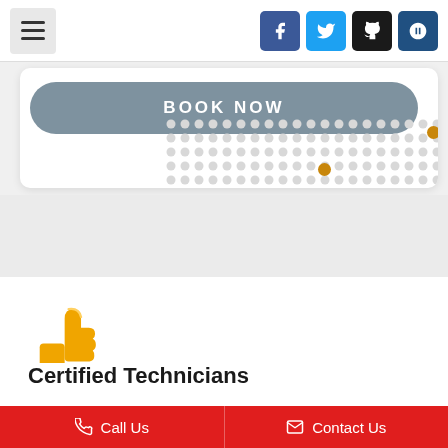Navigation header with hamburger menu and social icons: Facebook, Twitter, GitHub, Bitbucket
[Figure (screenshot): BOOK NOW button (gray rounded rectangle) with dot pattern decoration and two gold accent dots on a white card]
[Figure (illustration): Golden thumbs-up icon]
Certified Technicians
Call Us   Contact Us